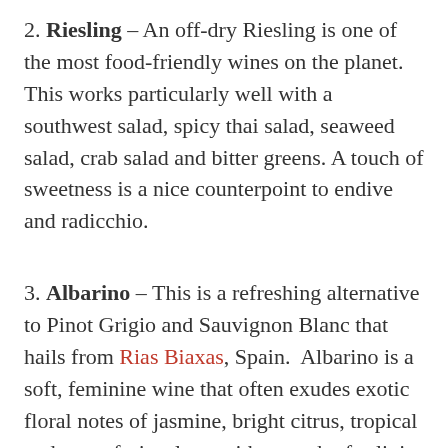2. Riesling – An off-dry Riesling is one of the most food-friendly wines on the planet. This works particularly well with a southwest salad, spicy thai salad, seaweed salad, crab salad and bitter greens. A touch of sweetness is a nice counterpoint to endive and radicchio.
3. Albarino – This is a refreshing alternative to Pinot Grigio and Sauvignon Blanc that hails from Rias Biaxas, Spain. Albarino is a soft, feminine wine that often exudes exotic floral notes of jasmine, bright citrus, tropical and stone fruits along with a touch of salinity that comes from the terroir along the Atlantic coast of Spain.
4. Rosé – A mineral driven dry rosé is the perfect